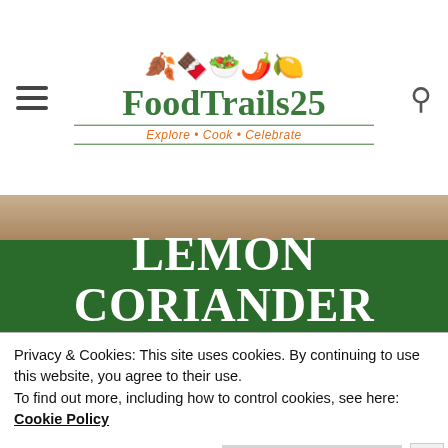FoodTrails25 — Explore • Cook • Celebrate
[Figure (photo): Wooden spoon on wooden background, partially visible at top]
LEMON CORIANDER AND AMLA SOUP
Privacy & Cookies: This site uses cookies. By continuing to use this website, you agree to their use. To find out more, including how to control cookies, see here: Cookie Policy
Close and accept
[Figure (screenshot): BitLife - Life Simulator advertisement banner at bottom of screen]